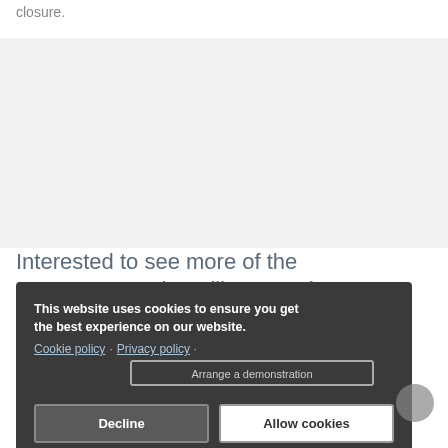closure.
Interested to see more of the EIDOS Strategic Selling Template?
This website uses cookies to ensure you get the best experience on our website. Cookie policy · Privacy policy
Arrange a demonstration
Decline
Allow cookies